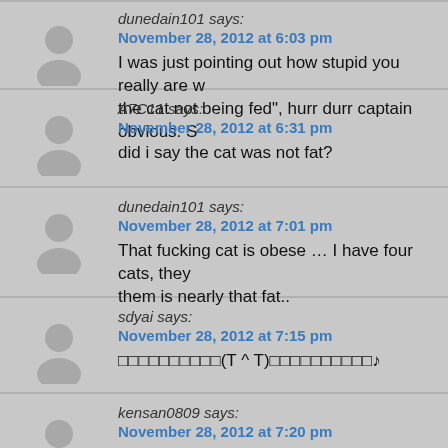dunedain101 says:
November 28, 2012 at 6:03 pm
I was just pointing out how stupid you really are w... the cat not being fed", hurr durr captain obvious. S...
A7C11 says:
November 28, 2012 at 6:31 pm
did i say the cat was not fat?
dunedain101 says:
November 28, 2012 at 7:01 pm
That fucking cat is obese … I have four cats, they... them is nearly that fat..
sdyai says:
November 28, 2012 at 7:15 pm
□□□□□□□□□□(T ^ T)□□□□□□□□□□♪
kensan0809 says:
November 28, 2012 at 7:20 pm
Fat cat, this is where your patience is needed mo...